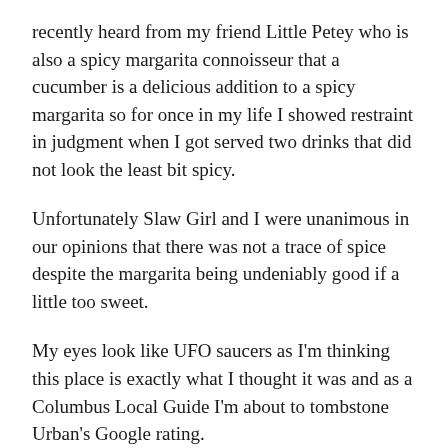recently heard from my friend Little Petey who is also a spicy margarita connoisseur that a cucumber is a delicious addition to a spicy margarita so for once in my life I showed restraint in judgment when I got served two drinks that did not look the least bit spicy.
Unfortunately Slaw Girl and I were unanimous in our opinions that there was not a trace of spice despite the margarita being undeniably good if a little too sweet.
My eyes look like UFO saucers as I’m thinking this place is exactly what I thought it was and as a Columbus Local Guide I’m about to tombstone Urban’s Google rating.
If I were an expert restaurant critic I would have spent the next 15 minutes taking pictures with the giant Urban cut-out near the entrance or the giant wall